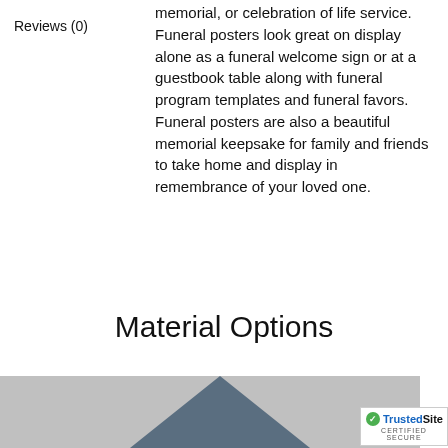Reviews (0)
memorial, or celebration of life service. Funeral posters look great on display alone as a funeral welcome sign or at a guestbook table along with funeral program templates and funeral favors. Funeral posters are also a beautiful memorial keepsake for family and friends to take home and display in remembrance of your loved one.
Material Options
[Figure (photo): Bottom portion of a product image showing a grey triangular/angled shape, with a TrustedSite Certified Secure badge in the bottom right corner.]